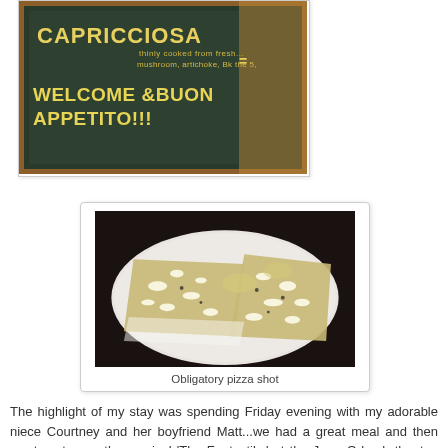[Figure (photo): Chalkboard restaurant sign reading 'CAPRICCIOSA' with Italian text and '5,' price, and 'WELCOME & BUON APPETITO!!!' in yellow chalk lettering on a dark green/black board with a wooden frame.]
[Figure (photo): Two slices of white pizza (pizza bianca) topped with white cheese crumbles, thinly sliced potatoes or zucchini, and black pepper, served on a round white plate against a dark background.]
Obligatory pizza shot
The highlight of my stay was spending Friday evening with my adorable niece Courtney and her boyfriend Matt...we had a great meal and then went on to see the musical 'The Fantastiks' at the Jerry Orbach theater. We sat in the front